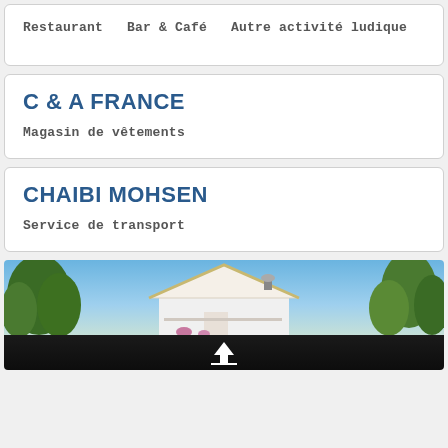Restaurant   Bar & Café   Autre activité ludique
C & A FRANCE
Magasin de vêtements
CHAIBI MOHSEN
Service de transport
[Figure (photo): Exterior photo of a white building with a pointed roof, surrounded by trees and vegetation, under a blue sky. Bottom portion shows a dark/nighttime view with an upward arrow icon.]